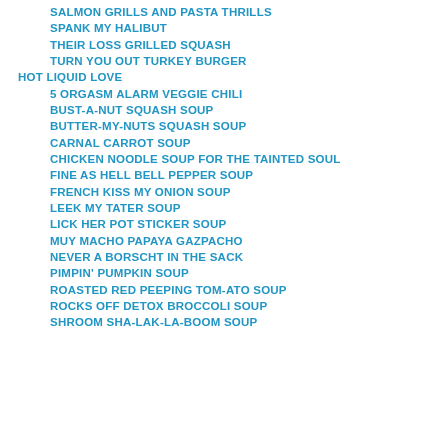SALMON GRILLS AND PASTA THRILLS
SPANK MY HALIBUT
THEIR LOSS GRILLED SQUASH
TURN YOU OUT TURKEY BURGER
HOT LIQUID LOVE
5 ORGASM ALARM VEGGIE CHILI
BUST-A-NUT SQUASH SOUP
BUTTER-MY-NUTS SQUASH SOUP
CARNAL CARROT SOUP
CHICKEN NOODLE SOUP FOR THE TAINTED SOUL
FINE AS HELL BELL PEPPER SOUP
FRENCH KISS MY ONION SOUP
LEEK MY TATER SOUP
LICK HER POT STICKER SOUP
MUY MACHO PAPAYA GAZPACHO
NEVER A BORSCHT IN THE SACK
PIMPIN' PUMPKIN SOUP
ROASTED RED PEEPING TOM-ATO SOUP
ROCKS OFF DETOX BROCCOLI SOUP
SHROOM SHA-LAK-LA-BOOM SOUP